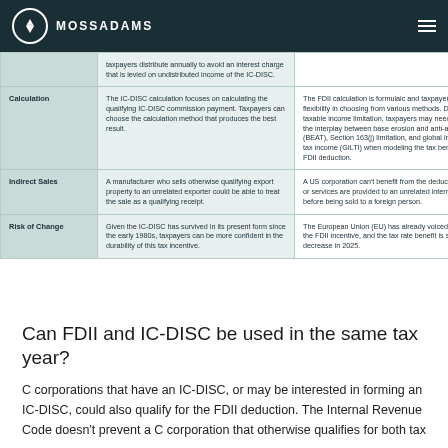MOSSADAMS
|  | IC-DISC | FDII |
| --- | --- | --- |
|  | taxpayers distribute annually to avoid an interest charge that is levied on undistributed income of the IC-DISC. |  |
| Calculation | The IC-DISC calculation focuses on calculating the qualifying IC-DISC commission payment. Taxpayers can choose the calculation method that produces the best result. | The FDII calculation is formulaic and taxpayers don't have flexibility in choosing from various methods. Due to the taxable income limitation, taxpayers may need to evaluate the interplay between base erosion and anti-abuse tax (BEAT), Section 163(j) limitation, and global intangible low tax income (GILTI) when modeling the tax benefits of the FDII deduction. |
| Indirect Sales | A manufacturer who sells otherwise qualifying export property to an unrelated exporter could be able to treat the sale as a qualifying receipt. | A US corporation can't benefit from the deduction if sales or services are provided to an unrelated intermediary before being sold to a foreign person. |
| Risk of Change | Given the IC-DISC has survived in its present form since the early 1980s, taxpayers can be more confident in the durability of this tax incentive. | The European Union (EU) has already voiced opposition to the FDII incentive, and the tax rate benefit is scheduled to decrease in 2025. |
Can FDII and IC-DISC be used in the same tax year?
C corporations that have an IC-DISC, or may be interested in forming an IC-DISC, could also qualify for the FDII deduction. The Internal Revenue Code doesn't prevent a C corporation that otherwise qualifies for both tax